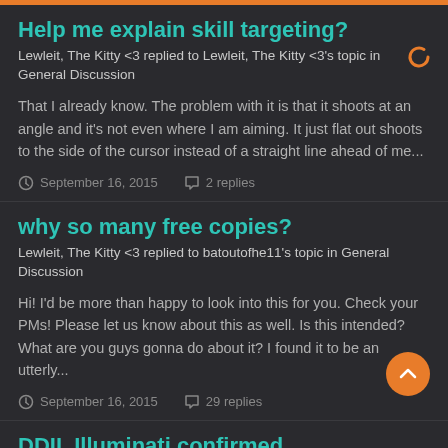Help me explain skill targeting?
Lewleit, The Kitty <3 replied to Lewleit, The Kitty <3's topic in General Discussion
That I already know. The problem with it is that it shoots at an angle and it's not even where I am aiming. It just flat out shoots to the side of the cursor instead of a straight line ahead of me...
September 16, 2015   2 replies
why so many free copies?
Lewleit, The Kitty <3 replied to batoutofhe11's topic in General Discussion
Hi! I'd be more than happy to look into this for you. Check your PMs! Please let us know about this as well. Is this intended? What are you guys gonna do about it? I found it to be an utterly...
September 16, 2015   29 replies
DDII. Illuminati confirmed.